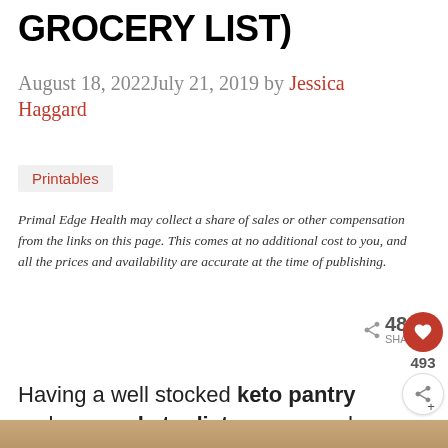GROCERY LIST)
August 18, 2022July 21, 2019 by Jessica Haggard
Printables
Primal Edge Health may collect a share of sales or other compensation from the links on this page. This comes at no additional cost to you, and all the prices and availability are accurate at the time of publishing.
[Figure (infographic): Social share buttons: Pinterest, Facebook, Email, Heart/Save; share count 489 SHARES; floating heart count 493 and share button]
Having a well stocked keto pantry makes your keto diet so easy and sustainable!
[Figure (photo): Bottom edge of a food/pantry photo, partially visible]